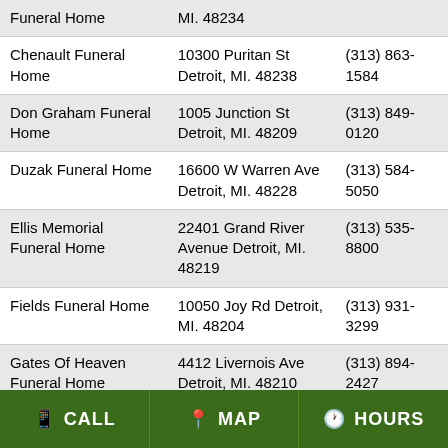| Name | Address | Phone |
| --- | --- | --- |
| Funeral Home | MI. 48234 |  |
| Chenault Funeral Home | 10300 Puritan St Detroit, MI. 48238 | (313) 863-1584 |
| Don Graham Funeral Home | 1005 Junction St Detroit, MI. 48209 | (313) 849-0120 |
| Duzak Funeral Home | 16600 W Warren Ave Detroit, MI. 48228 | (313) 584-5050 |
| Ellis Memorial Funeral Home | 22401 Grand River Avenue Detroit, MI. 48219 | (313) 535-8800 |
| Fields Funeral Home | 10050 Joy Rd Detroit, MI. 48204 | (313) 931-3299 |
| Gates Of Heaven Funeral Home | 4412 Livernois Ave Detroit, MI. 48210 | (313) 894-2427 |
| Heavenly Gates Funeral Home | 11583 W Outer Dr Detroit, MI. 48223 | (313) 531-0583 |
| House Of Johnson Funeral Home | 12540 Hayes St Detroit, MI. 48205 | (313) 839-6990 |
| James H Cole Home | 16100 Schaefer Hwy | (313) 864-7203 |
CALL   MAP   HOURS